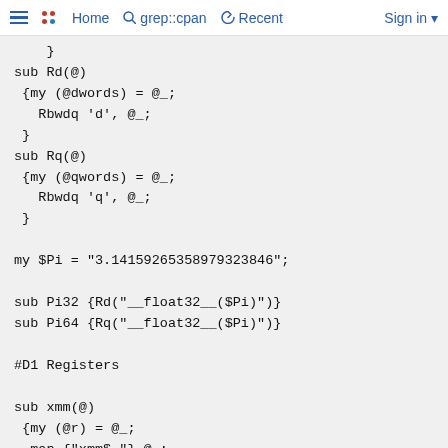Home  grep::cpan  Recent  Sign in
}
sub Rd(@)
 {my (@dwords) = @_;
   Rbwdq 'd', @_;
 }
sub Rq(@)
 {my (@qwords) = @_;
   Rbwdq 'q', @_;
 }

my $Pi = "3.14159265358979323846";

sub Pi32 {Rd("__float32__($Pi)")}
sub Pi64 {Rq("__float32__($Pi)")}

#D1 Registers

sub xmm(@)
 {my (@r) = @_;
  map {"xmm$_"} @_;
 }